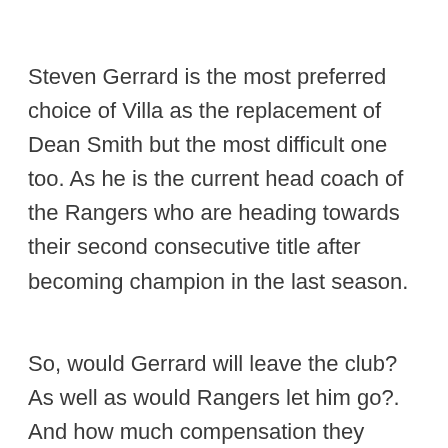Steven Gerrard is the most preferred choice of Villa as the replacement of Dean Smith but the most difficult one too. As he is the current head coach of the Rangers who are heading towards their second consecutive title after becoming champion in the last season.
So, would Gerrard will leave the club? As well as would Rangers let him go?. And how much compensation they might ask. Gerrard and Villa's